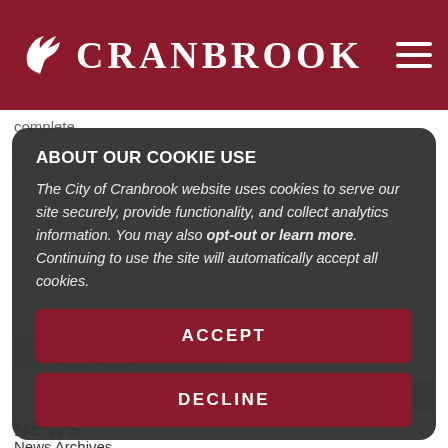CRANBROOK
complete.
Members of Cranbrook Fire & Emergency Services volunteers on May 3, helping to upgrade the gazebo at Idlewild Lake. Photo: City of Cranbrook
ABOUT OUR COOKIE USE
The City of Cranbrook website uses cookies to serve our site securely, provide functionality, and collect analytics information. You may also opt-out or learn more. Continuing to use the site will automatically accept all cookies.
ACCEPT
DECLINE
NEWS
News Archives